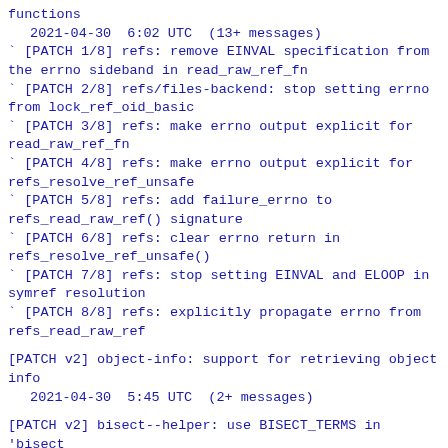functions
2021-04-30  6:02 UTC  (13+ messages)
` [PATCH 1/8] refs: remove EINVAL specification from the errno sideband in read_raw_ref_fn
` [PATCH 2/8] refs/files-backend: stop setting errno from lock_ref_oid_basic
` [PATCH 3/8] refs: make errno output explicit for read_raw_ref_fn
` [PATCH 4/8] refs: make errno output explicit for refs_resolve_ref_unsafe
` [PATCH 5/8] refs: add failure_errno to refs_read_raw_ref() signature
` [PATCH 6/8] refs: clear errno return in refs_resolve_ref_unsafe()
` [PATCH 7/8] refs: stop setting EINVAL and ELOOP in symref resolution
` [PATCH 8/8] refs: explicitly propagate errno from refs_read_raw_ref
[PATCH v2] object-info: support for retrieving object info
2021-04-30  5:45 UTC  (2+ messages)
[PATCH v2] bisect--helper: use BISECT_TERMS in 'bisect skip' command
2021-04-30  4:33 UTC  (3+ messages)
[RFC PATCH] cygwin: disallow backslashes in file names
2021-04-30  0:48 UTC  (3+ messages)
` [PATCH] "